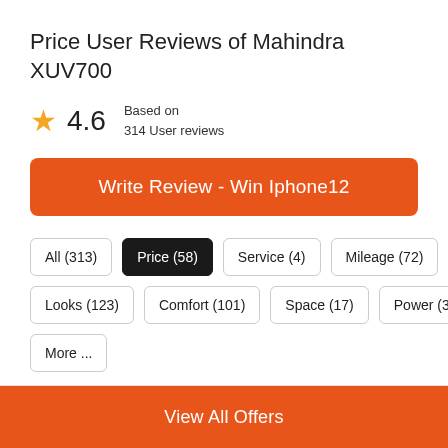Price User Reviews of Mahindra XUV700
★ 4.6  Based on 314 User reviews
Write Review - Win Iphone12
All (313)
Price (58)
Service (4)
Mileage (72)
Looks (123)
Comfort (101)
Space (17)
Power (34)
More ...
View All Offers